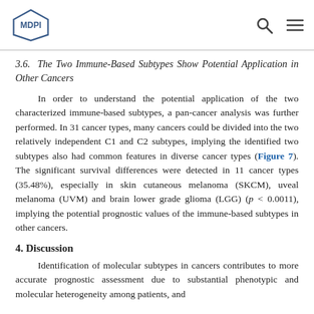MDPI
3.6. The Two Immune-Based Subtypes Show Potential Application in Other Cancers
In order to understand the potential application of the two characterized immune-based subtypes, a pan-cancer analysis was further performed. In 31 cancer types, many cancers could be divided into the two relatively independent C1 and C2 subtypes, implying the identified two subtypes also had common features in diverse cancer types (Figure 7). The significant survival differences were detected in 11 cancer types (35.48%), especially in skin cutaneous melanoma (SKCM), uveal melanoma (UVM) and brain lower grade glioma (LGG) (p < 0.0011), implying the potential prognostic values of the immune-based subtypes in other cancers.
4. Discussion
Identification of molecular subtypes in cancers contributes to more accurate prognostic assessment due to substantial phenotypic and molecular heterogeneity among patients, and